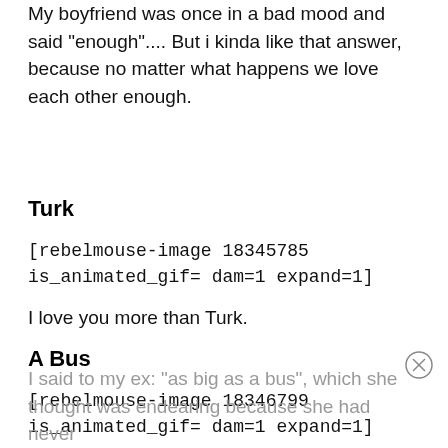My boyfriend was once in a bad mood and said "enough".... But i kinda like that answer, because no matter what happens we love each other enough.
Turk
[rebelmouse-image 18345785 is_animated_gif= dam=1 expand=1]
I love you more than Turk.
A Bus
[rebelmouse-image 18346799 is_animated_gif= dam=1 expand=1]
I said to my ex: "as big as a bus", which she thought was endearing because she had never